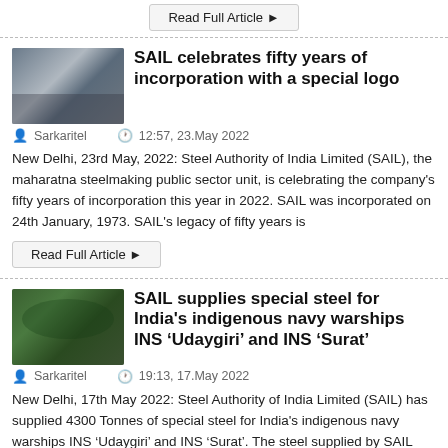[Figure (other): Read Full Article button at top of page]
SAIL celebrates fifty years of incorporation with a special logo
Sarkaritel  12:57, 23.May 2022
New Delhi, 23rd May, 2022: Steel Authority of India Limited (SAIL), the maharatna steelmaking public sector unit, is celebrating the company's fifty years of incorporation this year in 2022. SAIL was incorporated on 24th January, 1973. SAIL's legacy of fifty years is
[Figure (other): Read Full Article button below first article]
SAIL supplies special steel for India's indigenous navy warships INS 'Udaygiri' and INS 'Surat'
Sarkaritel  19:13, 17.May 2022
New Delhi, 17th May 2022: Steel Authority of India Limited (SAIL) has supplied 4300 Tonnes of special steel for India's indigenous navy warships INS 'Udaygiri' and INS 'Surat'. The steel supplied by SAIL comprises DMR 249A grade Plates and HR Sheets. The
[Figure (other): Read Full Article button below second article (partially visible)]